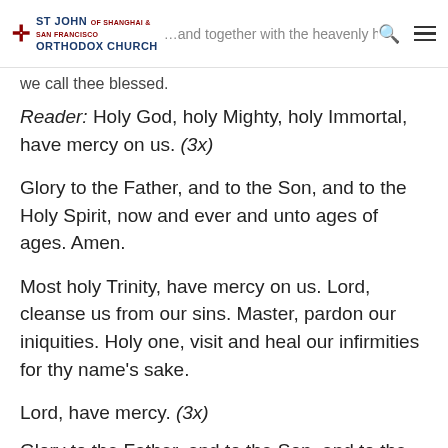ST JOHN OF SHANGHAI AND SAN FRANCISCO ORTHODOX CHURCH — …and together with the heavenly hosts we call thee blessed.
Reader: Holy God, holy Mighty, holy Immortal, have mercy on us. (3x)
Glory to the Father, and to the Son, and to the Holy Spirit, now and ever and unto ages of ages. Amen.
Most holy Trinity, have mercy on us. Lord, cleanse us from our sins. Master, pardon our iniquities. Holy one, visit and heal our infirmities for thy name's sake.
Lord, have mercy. (3x)
Glory to the Father, and to the Son, and to the Holy Spirit, now and ever and unto the ages of ages. Amen.